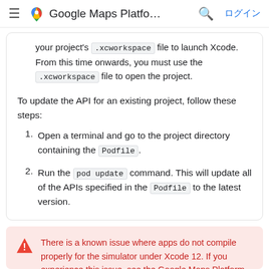Google Maps Platfo… ログイン
your project's .xcworkspace file to launch Xcode. From this time onwards, you must use the .xcworkspace file to open the project.
To update the API for an existing project, follow these steps:
1. Open a terminal and go to the project directory containing the Podfile.
2. Run the pod update command. This will update all of the APIs specified in the Podfile to the latest version.
There is a known issue where apps do not compile properly for the simulator under Xcode 12. If you experience this issue, see the Google Maps Platform FAQ for steps to resolve the